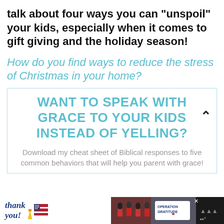talk about four ways you can “unspoil” your kids, especially when it comes to gift giving and the holiday season!
How do you find ways to reduce the stress of Christmas in your home?
WANT TO SPEAK WITH GRACE TO YOUR KIDS INSTEAD OF YELLING?
Download my cheat sheet of Biblical responses to five common behaviors that will help you parent with grace!
[Figure (infographic): Advertisement banner at the bottom: 'Thank you' text with American flag and pencil illustration on white background, photo of firefighters/military personnel in front of fire truck, Operation Gratitude logo, close button X, and Wi-Fi/temperature icons on dark background.]